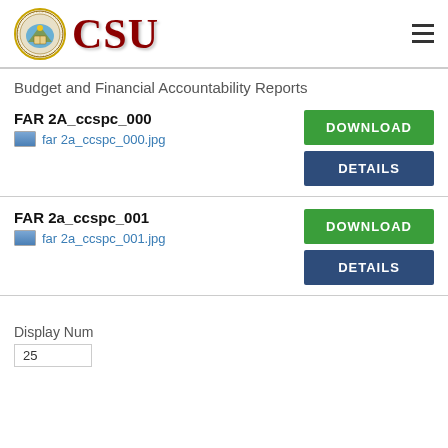[Figure (logo): CSU university seal logo with circular emblem and red CSU text]
Budget and Financial Accountability Reports
FAR 2A_ccspc_000
far 2a_ccspc_000.jpg
FAR 2a_ccspc_001
far 2a_ccspc_001.jpg
Display Num